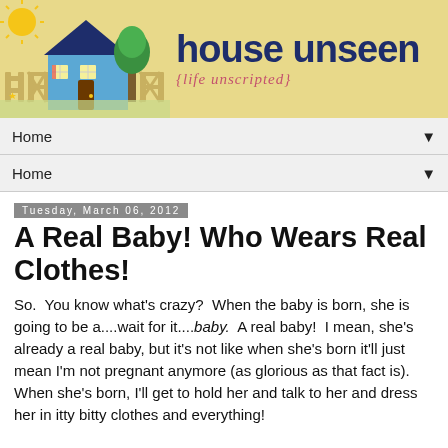[Figure (illustration): House Unseen blog banner with illustrated house, sun, tree on yellow background and text 'house unseen {life unscripted}']
Home ▼
Home ▼
Tuesday, March 06, 2012
A Real Baby! Who Wears Real Clothes!
So.  You know what's crazy?  When the baby is born, she is going to be a....wait for it....baby.  A real baby!  I mean, she's already a real baby, but it's not like when she's born it'll just mean I'm not pregnant anymore (as glorious as that fact is).  When she's born, I'll get to hold her and talk to her and dress her in itty bitty clothes and everything!